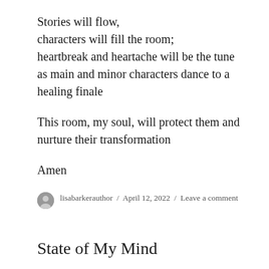Stories will flow,
characters will fill the room;
heartbreak and heartache will be the tune
as main and minor characters dance to a
healing finale

This room, my soul, will protect them and
nurture their transformation

Amen
lisabarkerauthor / April 12, 2022 / Leave a comment
State of My Mind